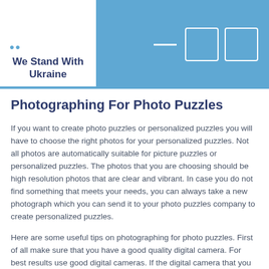We Stand With Ukraine
Photographing For Photo Puzzles
If you want to create photo puzzles or personalized puzzles you will have to choose the right photos for your personalized puzzles. Not all photos are automatically suitable for picture puzzles or personalized puzzles. The photos that you are choosing should be high resolution photos that are clear and vibrant. In case you do not find something that meets your needs, you can always take a new photograph which you can send it to your photo puzzles company to create personalized puzzles.
Here are some useful tips on photographing for photo puzzles. First of all make sure that you have a good quality digital camera. For best results use good digital cameras. If the digital camera that you are using is a new one, learn all the features of the digital camera and learn how to take good quality pictures in different settings. Lighting is one of the most crucial elements for a good photograph. Make sure that you have good lighting when you take your photographs. Pay attention to the lighting positions to ensure that there are no shadows in